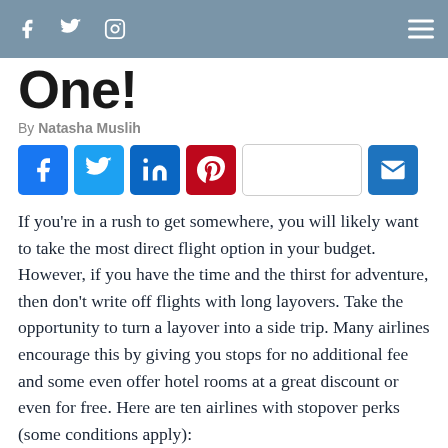f  Twitter  Instagram  ≡
One!
By Natasha Muslih
[Figure (infographic): Social share buttons row: Facebook, Twitter, LinkedIn, Pinterest, blank/WordPress, Email]
If you're in a rush to get somewhere, you will likely want to take the most direct flight option in your budget. However, if you have the time and the thirst for adventure, then don't write off flights with long layovers. Take the opportunity to turn a layover into a side trip. Many airlines encourage this by giving you stops for no additional fee and some even offer hotel rooms at a great discount or even for free. Here are ten airlines with stopover perks (some conditions apply):